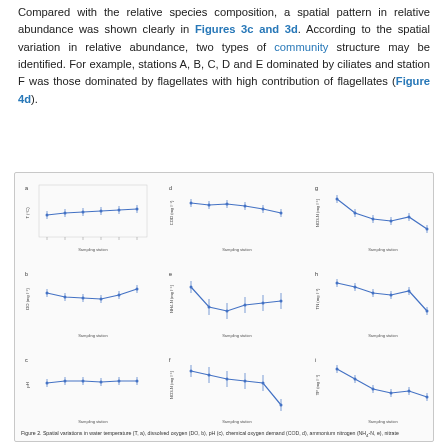Compared with the relative species composition, a spatial pattern in relative abundance was shown clearly in Figures 3c and 3d. According to the spatial variation in relative abundance, two types of community structure may be identified. For example, stations A, B, C, D and E dominated by ciliates and station F was those dominated by flagellates with high contribution of flagellates (Figure 4d).
[Figure (line-chart): 3x3 grid of line charts (a-i) showing spatial variations in water temperature (T, a), dissolved oxygen (DO, b), pH (c), chemical oxygen demand (COD, d), ammonium nitrogen (NH4-N, e), nitrate-N (NO3-N, f), NH4-N, TN, TP across sampling stations A-F with error bars]
Figure 2. Spatial variations in water temperature (T, a), dissolved oxygen (DO, b), pH (c), chemical oxygen demand (COD, d), ammonium nitrogen (NH4-N, e), nitrate...